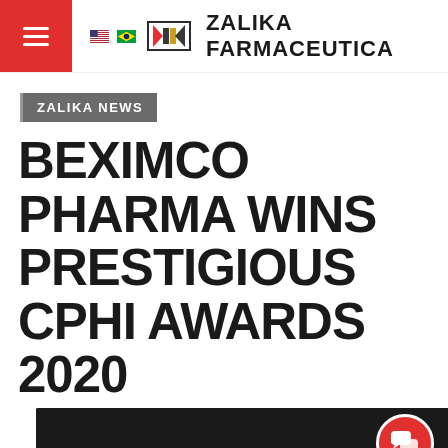ZALIKA FARMACEUTICA
ZALIKA NEWS
BEXIMCO PHARMA WINS PRESTIGIOUS CPHI AWARDS 2020
[Figure (photo): Blister pack of white pills/tablets on a dark background]